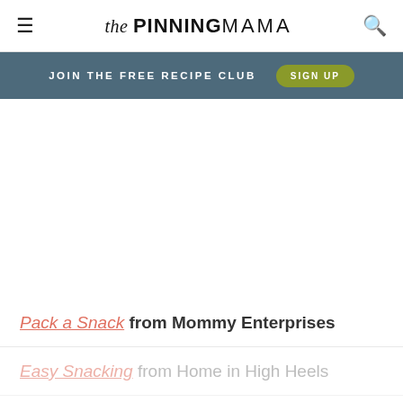the PINNING MAMA
JOIN THE FREE RECIPE CLUB  SIGN UP
[Figure (other): Advertisement / empty white space area]
Pack a Snack from Mommy Enterprises
Easy Snacking from Home in High Heels